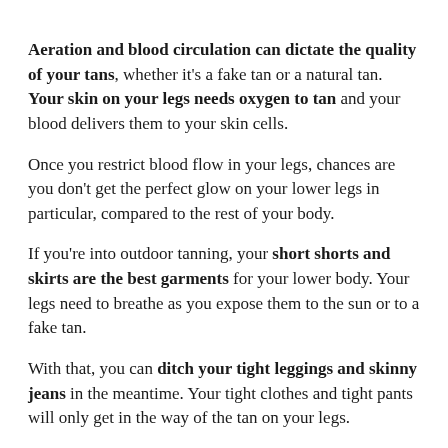Aeration and blood circulation can dictate the quality of your tans, whether it's a fake tan or a natural tan. Your skin on your legs needs oxygen to tan and your blood delivers them to your skin cells.
Once you restrict blood flow in your legs, chances are you don't get the perfect glow on your lower legs in particular, compared to the rest of your body.
If you're into outdoor tanning, your short shorts and skirts are the best garments for your lower body. Your legs need to breathe as you expose them to the sun or to a fake tan.
With that, you can ditch your tight leggings and skinny jeans in the meantime. Your tight clothes and tight pants will only get in the way of the tan on your legs.